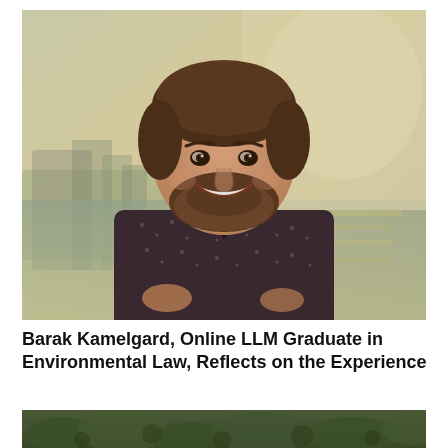[Figure (photo): Portrait photo of a smiling man with a beard wearing a dark patterned shirt, standing outdoors near water with blurred natural background]
Barak Kamelgard, Online LLM Graduate in Environmental Law, Reflects on the Experience
[Figure (photo): Partial cropped photo showing outdoor greenery/plants, cut off at bottom of page]